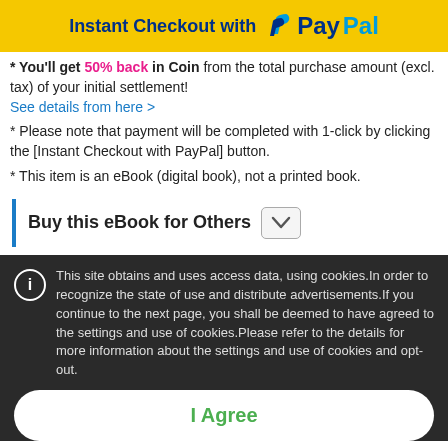[Figure (logo): PayPal Instant Checkout banner with yellow background, PayPal logo in blue]
* You'll get 50% back in Coin from the total purchase amount (excl. tax) of your initial settlement!
See details from here >
* Please note that payment will be completed with 1-click by clicking the [Instant Checkout with PayPal] button.
* This item is an eBook (digital book), not a printed book.
Buy this eBook for Others
This site obtains and uses access data, using cookies.In order to recognize the state of use and distribute advertisements.If you continue to the next page, you shall be deemed to have agreed to the settings and use of cookies.Please refer to the details for more information about the settings and use of cookies and opt-out.
I Agree
View our Cookie Policy   View our Privacy Policy